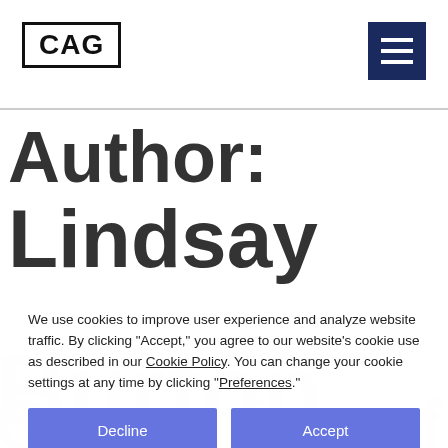CAG
Author: Lindsay
We use cookies to improve user experience and analyze website traffic. By clicking “Accept,” you agree to our website’s cookie use as described in our Cookie Policy. You can change your cookie settings at any time by clicking “Preferences.”
Decline | Accept
Preferences